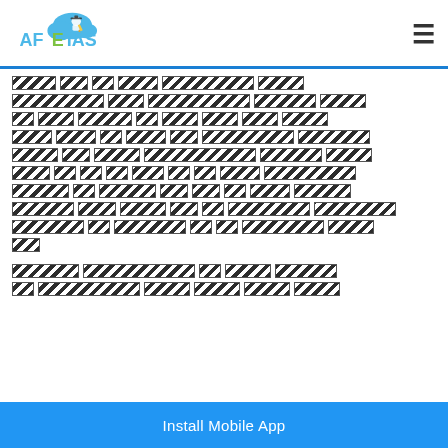AFEIAS logo and navigation menu
[Hindi text content - redacted/encoded]
[Hindi text content - second paragraph, redacted/encoded]
Install Mobile App